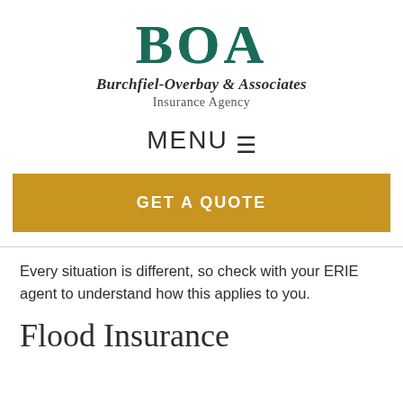[Figure (logo): BOA logo with striped teal letters and company name 'Burchfiel-Overbay & Associates Insurance Agency']
MENU ☰
GET A QUOTE
Every situation is different, so check with your ERIE agent to understand how this applies to you.
Flood Insurance